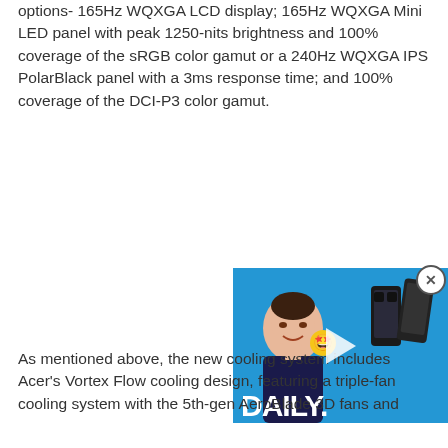options- 165Hz WQXGA LCD display; 165Hz WQXGA Mini LED panel with peak 1250-nits brightness and 100% coverage of the sRGB color gamut or a 240Hz WQXGA IPS PolarBlack panel with a 3ms response time; and 100% coverage of the DCI-P3 color gamut.
[Figure (screenshot): A video widget thumbnail showing a person/presenter with emoji overlay and text 'DAILY.' on a blue background, with two smartphones visible on the right side. A play button is centered on the thumbnail. A close (X) button appears at the top-right corner.]
As mentioned above, the new cooling system includes Acer's Vortex Flow cooling design, featuring a triple-fan cooling system with the 5th-gen AeroBlade 3D fans and